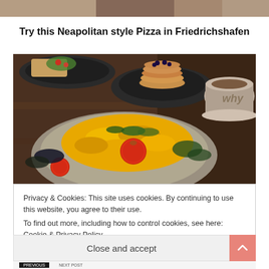[Figure (photo): Partial top of a photo showing food dishes on a table, cropped at the top]
Try this Neapolitan style Pizza in Friedrichshafen
[Figure (photo): Close-up photo of a plate with yellow/golden scrambled eggs or tofu scramble with tomatoes and herbs, other dishes visible in background including pancakes and a coffee cup, on a wooden table]
Privacy & Cookies: This site uses cookies. By continuing to use this website, you agree to their use.
To find out more, including how to control cookies, see here: Cookie & Privacy Policy
Close and accept